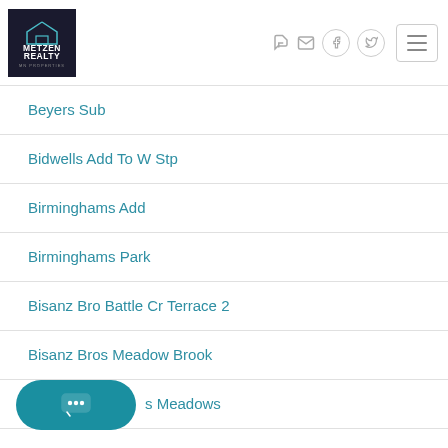[Figure (logo): Metzen Realty logo — dark square background with teal house icon and white bold text]
Beyers Sub
Bidwells Add To W Stp
Birminghams Add
Birminghams Park
Bisanz Bro Battle Cr Terrace 2
Bisanz Bros Meadow Brook
...s Meadows